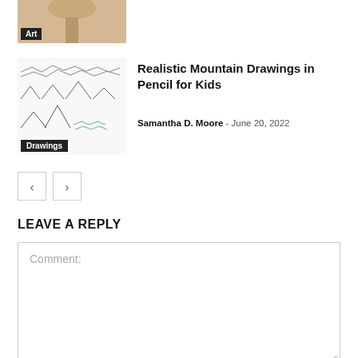[Figure (photo): Thumbnail image with Art tag label, showing a tree-like figure on beige background]
[Figure (illustration): Thumbnail showing step-by-step mountain pencil drawings with Drawings tag label]
Realistic Mountain Drawings in Pencil for Kids
Samantha D. Moore – June 20, 2022
< >
LEAVE A REPLY
Comment: